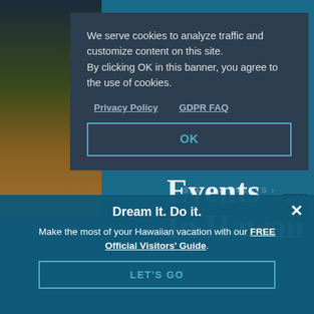[Figure (screenshot): Hawaii website background with nighttime palm tree scene and teal ocean/event overlay]
We serve cookies to analyze traffic and customize content on this site. By clicking OK in this banner, you agree to the use of cookies.
Privacy Policy    GDPR FAQ
OK
Events In Hawaii
BACK TO TOP
Dream It. Do it.
Make the most of your Hawaiian vacation with our FREE Official Visitors' Guide.
LET'S GO